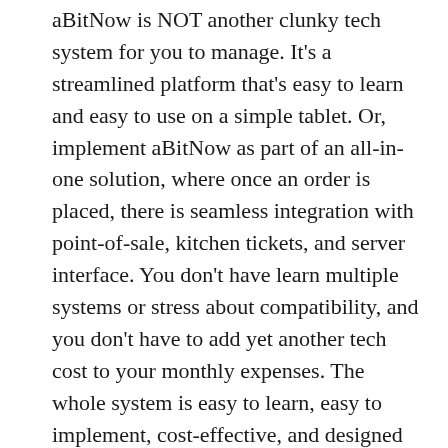aBitNow is NOT another clunky tech system for you to manage. It's a streamlined platform that's easy to learn and easy to use on a simple tablet. Or, implement aBitNow as part of an all-in-one solution, where once an order is placed, there is seamless integration with point-of-sale, kitchen tickets, and server interface. You don't have learn multiple systems or stress about compatibility, and you don't have to add yet another tech cost to your monthly expenses. The whole system is easy to learn, easy to implement, cost-effective, and designed specifically to save you time, money, and headaches.
Technology is helping restaurants, retail, hospitality, and more — and more should be...